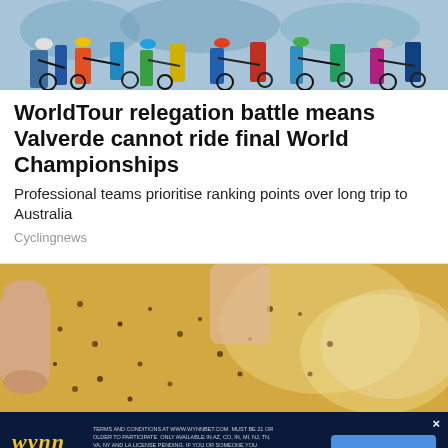[Figure (photo): Cyclists racing, seen from behind, wearing colorful jerseys and helmets]
WorldTour relegation battle means Valverde cannot ride final World Championships
Professional teams prioritise ranking points over long trip to Australia
Cyclingnews
[Figure (photo): Close-up of a hand holding a golden, speckled food item]
[Figure (screenshot): WynnBET Sportsbook advertisement banner with BET NOW button and gambling disclaimer text]